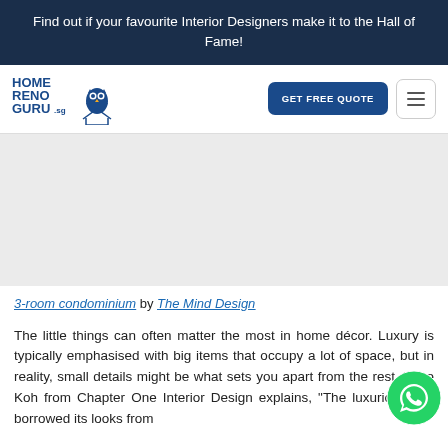Find out if your favourite Interior Designers make it to the Hall of Fame!
[Figure (logo): HomeRenoGuru.sg logo with owl icon]
3-room condominium by The Mind Design
The little things can often matter the most in home décor. Luxury is typically emphasised with big items that occupy a lot of space, but in reality, small details might be what sets you apart from the rest. Irene Koh from Chapter One Interior Design explains, "The luxurious feel borrowed its looks from